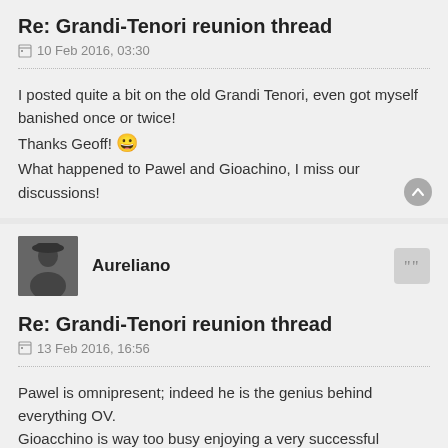Re: Grandi-Tenori reunion thread
10 Feb 2016, 03:30
I posted quite a bit on the old Grandi Tenori, even got myself banished once or twice!
Thanks Geoff! 😀
What happened to Pawel and Gioachino, I miss our discussions!
Aureliano
Re: Grandi-Tenori reunion thread
13 Feb 2016, 16:56
Pawel is omnipresent; indeed he is the genius behind everything OV.
Gioacchino is way too busy enjoying a very successful teaching career, which includes running a very successful